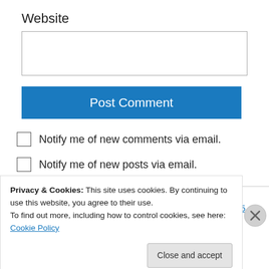Website
[Figure (screenshot): Empty text input box for Website URL]
[Figure (screenshot): Post Comment button in blue]
Notify me of new comments via email.
Notify me of new posts via email.
leaallenbounces on November 18, 2013 at 2:15 pm
Privacy & Cookies: This site uses cookies. By continuing to use this website, you agree to their use.
To find out more, including how to control cookies, see here: Cookie Policy
Close and accept